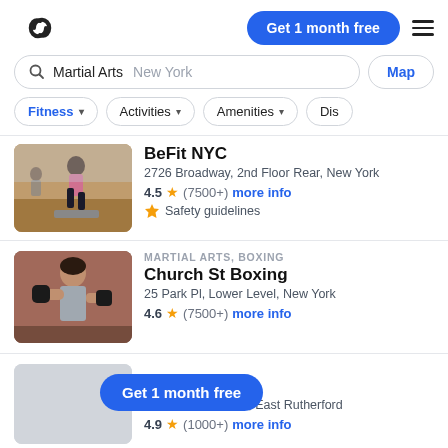ClassPass app screenshot — Martial Arts search in New York
Get 1 month free
Martial Arts  New York
Map
Fitness  Activities  Amenities  Dis
[Figure (photo): Photo of a woman doing a fitness exercise (lunge with step platform) in a gym]
BeFit NYC
2726 Broadway, 2nd Floor Rear, New York
4.5 ★ (7500+)  more info
🛡 Safety guidelines
[Figure (photo): Photo of a woman in boxing stance with hand wraps, martial arts/boxing context]
MARTIAL ARTS, BOXING
Church St Boxing
25 Park Pl, Lower Level, New York
4.6 ★ (7500+)  more info
[Figure (photo): Partially visible photo, partially covered by promo button]
Get 1 month free
85 Route 17 South, East Rutherford
4.9 ★ (1000+)  more info